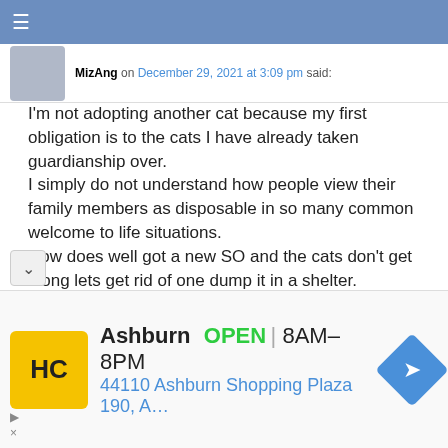Navigation bar
MizAng on December 29, 2021 at 3:09 pm said:
I'm not adopting another cat because my first obligation is to the cats I have already taken guardianship over.
I simply do not understand how people view their family members as disposable in so many common welcome to life situations.
How does well got a new SO and the cats don't get along lets get rid of one dump it in a shelter.
Michael I bet after dumping Ginger they have or will shortly get a kitten because kittens are easier to work into a multicat household. So while Ginger sits in a shelter/rescue a new kitten will replace her.
Right now my husband and I are living in separate cities to keep our jobs and maintain a safe home for our cats and will continue to do so until we can move them safely to a new
[Figure (screenshot): Advertisement banner for HC company in Ashburn, showing logo, OPEN status, hours 8AM-8PM, and address 44110 Ashburn Shopping Plaza 190, A...]